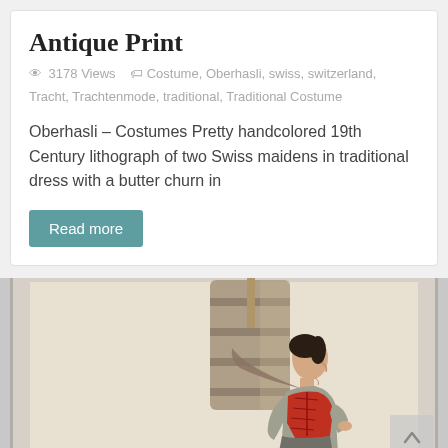Antique Print
3178 Views   Costume, Oberhasli, swiss, switzerland, Tracht, Trachtenmode, traditional, Traditional Costume
Oberhasli – Costumes Pretty handcolored 19th Century lithograph of two Swiss maidens in traditional dress with a butter churn in
Read more
[Figure (photo): Antique lithograph print showing a Swiss maiden in traditional dress carrying a large wooden butter churn on her back, viewed from the side. The figure wears a red bodice and grey clothing. The print is displayed in a light-colored frame.]